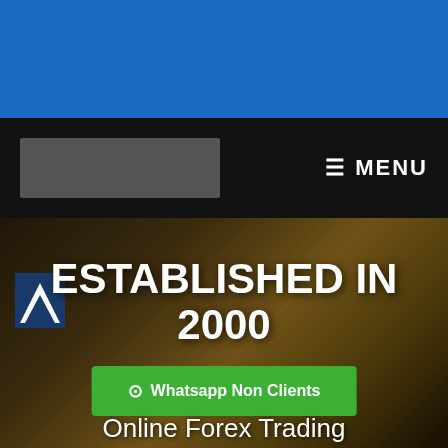[Figure (screenshot): Blue header bar at top of webpage]
≡ MENU
[Figure (photo): Agrodana Futura company signage in gold/brown office interior with logo]
ESTABLISHED IN 2000
⊙ Whatsapp Non Clients
Online Forex Trading